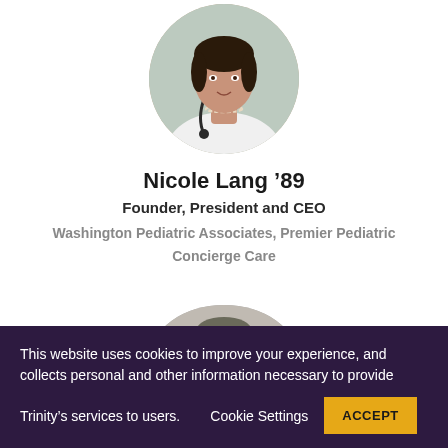[Figure (photo): Circular headshot of Nicole Lang, a woman in a white doctor's coat with a stethoscope and pearl necklace]
Nicole Lang '89
Founder, President and CEO
Washington Pediatric Associates, Premier Pediatric Concierge Care
[Figure (photo): Partial circular headshot of a second person, mostly cropped, showing top of head with dark hair]
This website uses cookies to improve your experience, and collects personal and other information necessary to provide Trinity's services to users. Cookie Settings ACCEPT